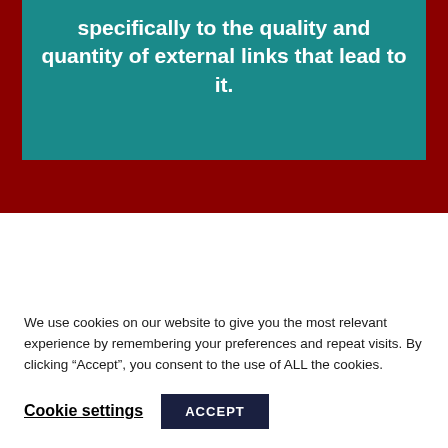specifically to the quality and quantity of external links that lead to it.
We use cookies on our website to give you the most relevant experience by remembering your preferences and repeat visits. By clicking “Accept”, you consent to the use of ALL the cookies.